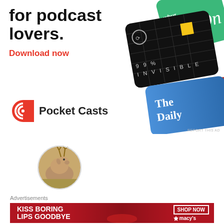[Figure (advertisement): Pocket Casts podcast app advertisement showing app icons for 99% Invisible, The Daily, and other podcasts with text 'for podcast lovers.' and 'Download now' button, Pocket Casts logo at bottom]
[Figure (photo): Circular avatar photo of a deer/antelope in a field]
twobrownfeet on 17 March 2016 at 4:14 PM said:
Advertisements
[Figure (advertisement): Macy's advertisement with red background, close-up of woman's face with red lips, text 'KISS BORING LIPS GOODBYE', 'SHOP NOW' button, and Macy's star logo]